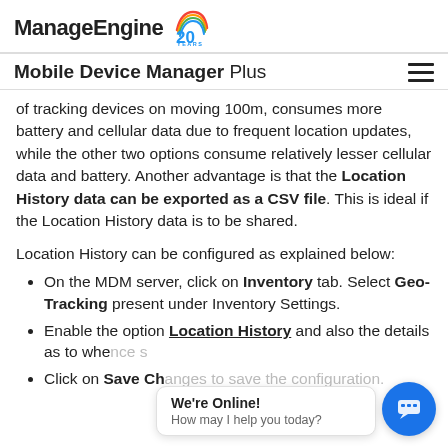ManageEngine 20 YEARS
Mobile Device Manager Plus
of tracking devices on moving 100m, consumes more battery and cellular data due to frequent location updates, while the other two options consume relatively lesser cellular data and battery. Another advantage is that the Location History data can be exported as a CSV file. This is ideal if the Location History data is to be shared.
Location History can be configured as explained below:
On the MDM server, click on Inventory tab. Select Geo-Tracking present under Inventory Settings.
Enable the option Location History and also the details as to whe... e s...
Click on Save Ch... to s... the configuration.